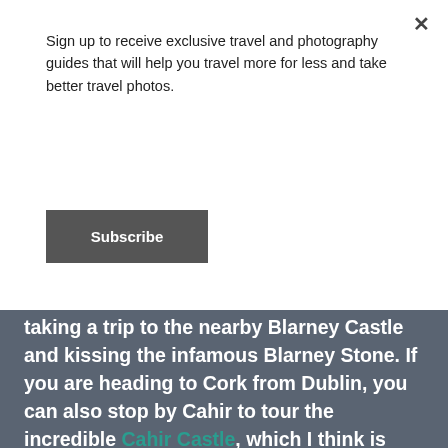Sign up to receive exclusive travel and photography guides that will help you travel more for less and take better travel photos.
Subscribe
taking a trip to the nearby Blarney Castle and kissing the infamous Blarney Stone. If you are heading to Cork from Dublin, you can also stop by Cahir to tour the incredible Cahir Castle, which I think is one of Ireland's prettiest. And if that isn't enough to give you your castle fix, I would suggest booking an overnight stay at the wonderful Dromoland Castle Hotel. There aren't many places in the world where you can actually stay overnight in an actual castle.